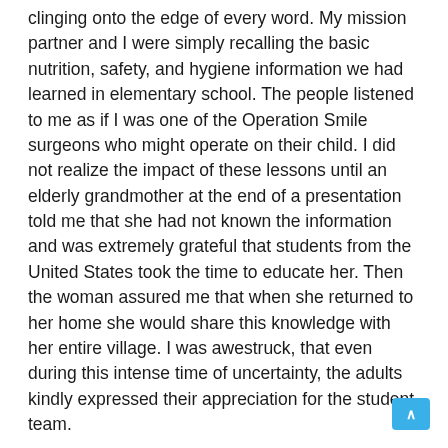clinging onto the edge of every word. My mission partner and I were simply recalling the basic nutrition, safety, and hygiene information we had learned in elementary school. The people listened to me as if I was one of the Operation Smile surgeons who might operate on their child. I did not realize the impact of these lessons until an elderly grandmother at the end of a presentation told me that she had not known the information and was extremely grateful that students from the United States took the time to educate her. Then the woman assured me that when she returned to her home she would share this knowledge with her entire village. I was awestruck, that even during this intense time of uncertainty, the adults kindly expressed their appreciation for the student team.

My eyes stung from dust and tears only two days later as I led a group of patients across the arid, continuous landscape clutching a white slip of paper branded with the letter “H”. For them this represents a disheartening trip to the hospital. For them this represents a wearisome journey home. My heart tightened with overwhelming sadness for those who could not receive surgery because of malnutrition or infection